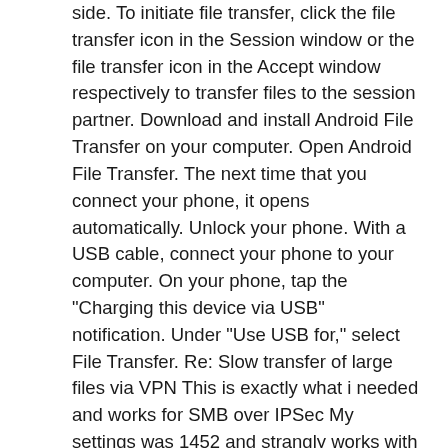side. To initiate file transfer, click the file transfer icon in the Session window or the file transfer icon in the Accept window respectively to transfer files to the session partner. Download and install Android File Transfer on your computer. Open Android File Transfer. The next time that you connect your phone, it opens automatically. Unlock your phone. With a USB cable, connect your phone to your computer. On your phone, tap the "Charging this device via USB" notification. Under "Use USB for," select File Transfer. Re: Slow transfer of large files via VPN This is exactly what i needed and works for SMB over IPSec My settings was 1452 and strangly works with a lot of our customers with the same Cisco 867vae model. Jul 10, 2020 · Transferring data (files) to and from servers in the Server Farm opens the possibility of a security issue for both the data and the systems. The Systems Administration group recommends the use of encrypted protocols during file transfer. Using an encrypted protocol reduces the chance of a security issue. Feb 18, 2020 · Transfer files from PC to Android: